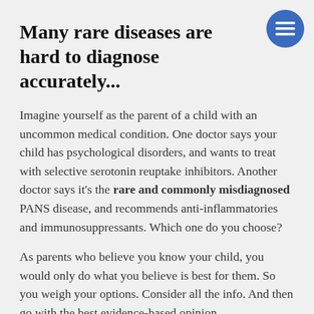Many rare diseases are hard to diagnose accurately...
Imagine yourself as the parent of a child with an uncommon medical condition. One doctor says your child has psychological disorders, and wants to treat with selective serotonin reuptake inhibitors. Another doctor says it's the rare and commonly misdiagnosed PANS disease, and recommends anti-inflammatories and immunosuppressants. Which one do you choose?
As parents who believe you know your child, you would only do what you believe is best for them. So you weigh your options. Consider all the info. And then go with the best evidence-based opinion.